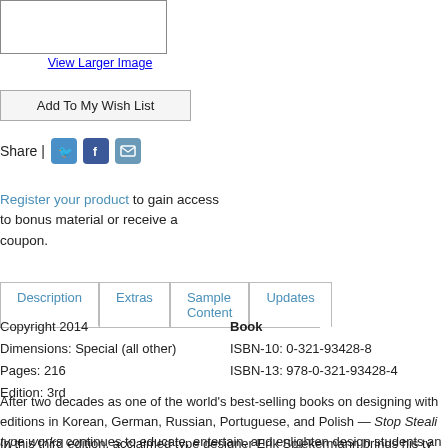[Figure (illustration): Book cover image placeholder (white rectangle with border)]
View Larger Image
Add To My Wish List
Share |  [Twitter icon] [Facebook icon] [Email icon]
Register your product to gain access to bonus material or receive a coupon.
Description | Extras | Sample Content | Updates (tabs)
Copyright 2014
Dimensions: Special (all other)
Pages: 216
Edition: 3rd
Book
ISBN-10: 0-321-93428-8
ISBN-13: 978-0-321-93428-4
After two decades as one of the world's best-selling books on designing with type — with editions in Korean, German, Russian, Portuguese, and Polish — Stop Stealing Sheep & find out how type works continues to educate, entertain, and enlighten design students and professionals across the globe.
In this third edition, acclaimed type designer Erik Spiekermann brings his ty